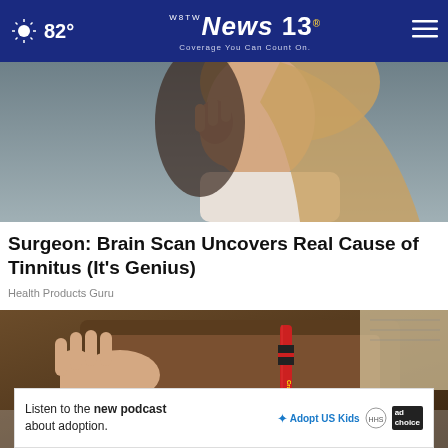82° | WBTW News 13 | Coverage You Can Count On.
[Figure (photo): Woman holding her ear/head in apparent discomfort, tinnitus-related image]
Surgeon: Brain Scan Uncovers Real Cause of Tinnitus (It's Genius)
Health Products Guru
[Figure (photo): Hands holding a Crayola crayon near a wallet]
Listen to the new podcast about adoption.